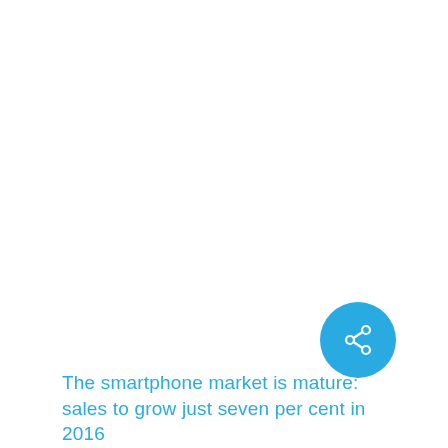[Figure (infographic): A circular share/social button with a share icon (three connected dots) in white on a blue (#29abe2) circular background, positioned in the lower-right area of the page.]
The smartphone market is mature: sales to grow just seven per cent in 2016